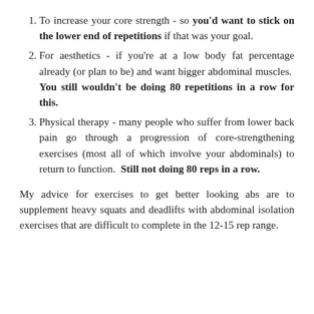To increase your core strength - so you'd want to stick on the lower end of repetitions if that was your goal.
For aesthetics - if you're at a low body fat percentage already (or plan to be) and want bigger abdominal muscles. You still wouldn't be doing 80 repetitions in a row for this.
Physical therapy - many people who suffer from lower back pain go through a progression of core-strengthening exercises (most all of which involve your abdominals) to return to function. Still not doing 80 reps in a row.
My advice for exercises to get better looking abs are to supplement heavy squats and deadlifts with abdominal isolation exercises that are difficult to complete in the 12-15 rep range.